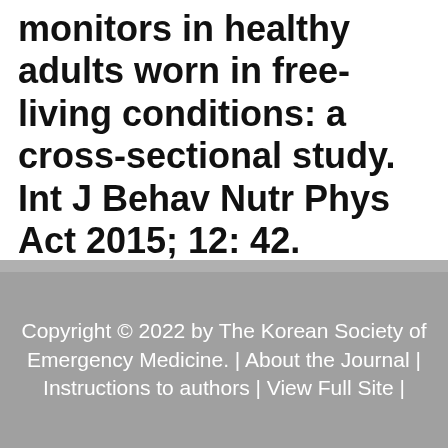monitors in healthy adults worn in free-living conditions: a cross-sectional study. Int J Behav Nutr Phys Act 2015; 12: 42.
Article | PubMed | PMC
Copyright © 2022 by The Korean Society of Emergency Medicine. | About the Journal | Instructions to authors | View Full Site |